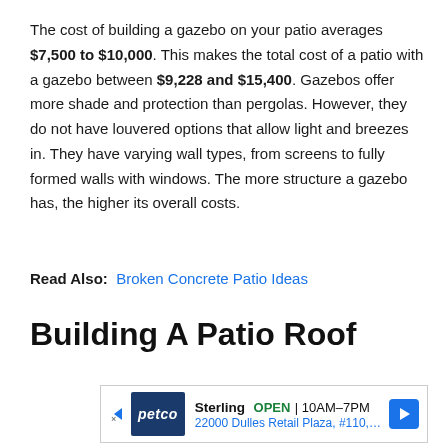The cost of building a gazebo on your patio averages $7,500 to $10,000. This makes the total cost of a patio with a gazebo between $9,228 and $15,400. Gazebos offer more shade and protection than pergolas. However, they do not have louvered options that allow light and breezes in. They have varying wall types, from screens to fully formed walls with windows. The more structure a gazebo has, the higher its overall costs.
Read Also: Broken Concrete Patio Ideas
Building A Patio Roof
[Figure (other): Advertisement for Petco Sterling store showing logo, open hours 10AM-7PM, and address 22000 Dulles Retail Plaza, #110, Sterling]